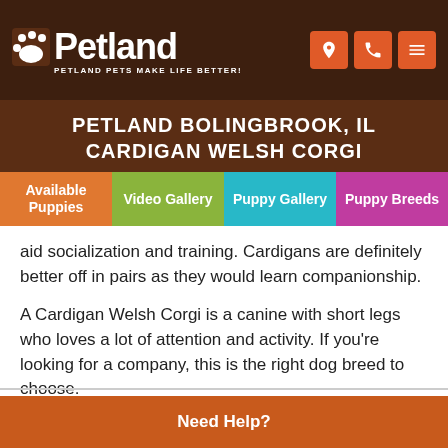[Figure (logo): Petland logo with paw print icon and tagline 'Petland Pets Make Life Better!']
PETLAND BOLINGBROOK, IL
CARDIGAN WELSH CORGI
Available Puppies
Video Gallery
Puppy Gallery
Puppy Breeds
aid socialization and training. Cardigans are definitely better off in pairs as they would learn companionship.
A Cardigan Welsh Corgi is a canine with short legs who loves a lot of attention and activity. If you're looking for a company, this is the right dog breed to choose.
Are you interested in purchasing a Cardigan Welsh Corgi?
Need Help?